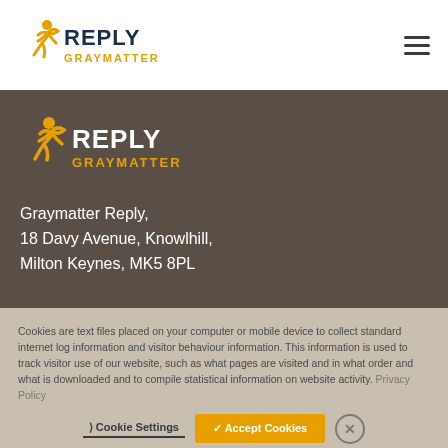[Figure (logo): Graymatter Reply logo top navigation bar with running man icon, REPLY in dark blue, GRAYMATTER in orange]
[Figure (logo): Graymatter Reply logo in dark section with running man icon, REPLY in white, GRAYMATTER in orange]
Graymatter Reply,
18 Davy Avenue, Knowlhill,
Milton Keynes, MK5 8PL
Cookies are text files placed on your computer or mobile device to collect standard internet log information and visitor behaviour information. This information is used to track visitor use of our website, such as what pages are visited and in what order and what is downloaded and to compile statistical information on website activity. Privacy Policy